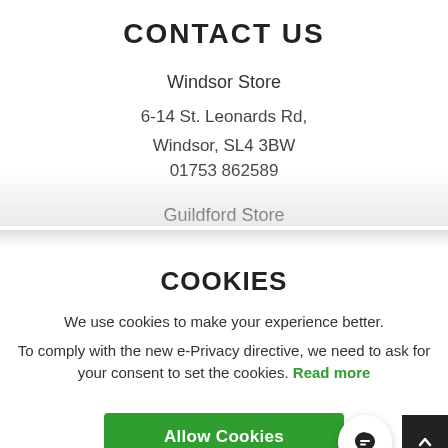CONTACT US
Windsor Store
6-14 St. Leonards Rd,
Windsor, SL4 3BW
01753 862589
Guildford Store
COOKIES
We use cookies to make your experience better. To comply with the new e-Privacy directive, we need to ask for your consent to set the cookies. Read more
Allow Cookies